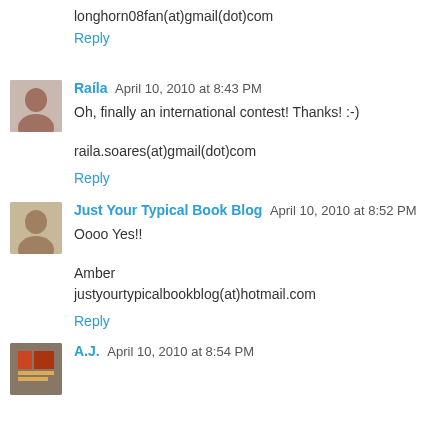longhorn08fan(at)gmail(dot)com
Reply
Raíla  April 10, 2010 at 8:43 PM
Oh, finally an international contest! Thanks! :-)
raila.soares(at)gmail(dot)com
Reply
Just Your Typical Book Blog  April 10, 2010 at 8:52 PM
Oooo Yes!!
Amber
justyourtypicalbookblog(at)hotmail.com
Reply
A.J.  April 10, 2010 at 8:54 PM